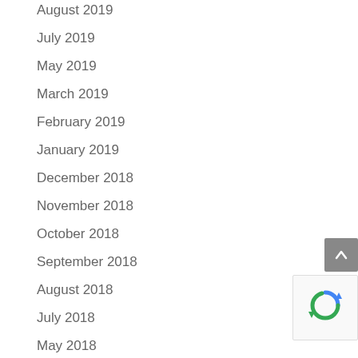August 2019
July 2019
May 2019
March 2019
February 2019
January 2019
December 2018
November 2018
October 2018
September 2018
August 2018
July 2018
May 2018
April 2018
March 2018